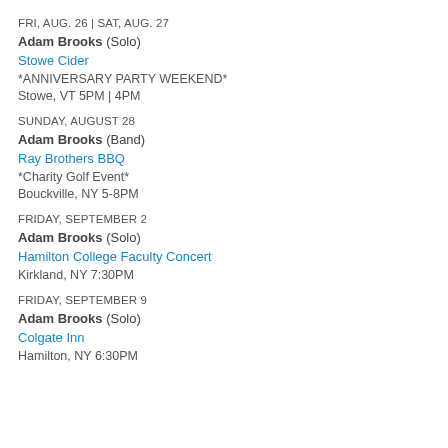FRI, AUG. 26 | SAT, AUG. 27
Adam Brooks (Solo)
Stowe Cider
*ANNIVERSARY PARTY WEEKEND*
Stowe, VT 5PM | 4PM
SUNDAY, AUGUST 28
Adam Brooks (Band)
Ray Brothers BBQ
*Charity Golf Event*
Bouckville, NY 5-8PM
FRIDAY, SEPTEMBER 2
Adam Brooks (Solo)
Hamilton College Faculty Concert
Kirkland, NY 7:30PM
FRIDAY, SEPTEMBER 9
Adam Brooks (Solo)
Colgate Inn
Hamilton, NY 6:30PM